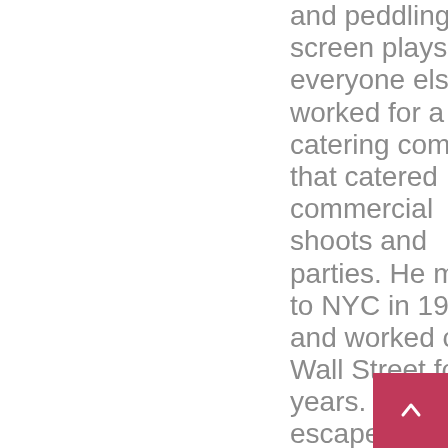and peddling screen plays, like everyone else, he worked for a small catering company that catered commercial shoots and parties. He moved to NYC in 1982 and worked on Wall Street for two years. Having escaped on the